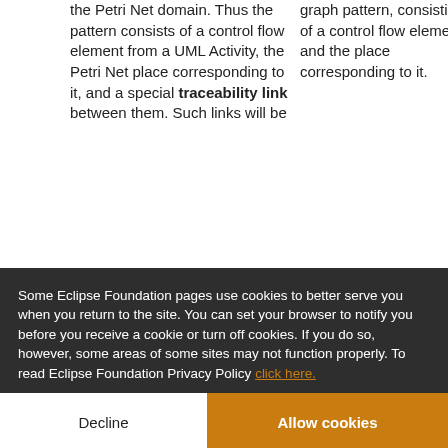the Petri Net domain. Thus the pattern consists of a control flow element from a UML Activity, the Petri Net place corresponding to it, and a special traceability link between them. Such links will be
graph pattern, consisting of a control flow element and the place corresponding to it.
[Figure (screenshot): Cookie consent overlay from Eclipse Foundation website. Dark background overlay with white text reading: 'Some Eclipse Foundation pages use cookies to better serve you when you return to the site. You can set your browser to notify you before you receive a cookie or turn off cookies. If you do so, however, some areas of some sites may not function properly. To read Eclipse Foundation Privacy Policy click here.' Two buttons: 'Decline' (white background) and 'Allow cookies' (orange background).]
significantly. As a further deviation from the visual